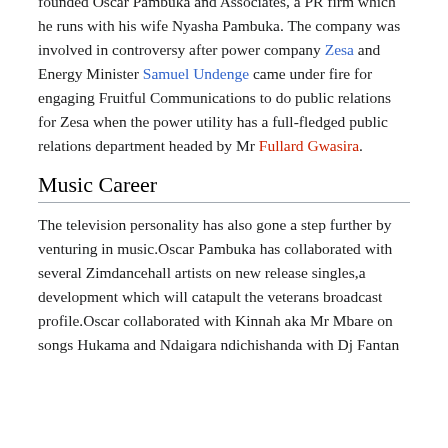founded Oscar Pambuka and Associates, a PR firm which he runs with his wife Nyasha Pambuka. The company was involved in controversy after power company Zesa and Energy Minister Samuel Undenge came under fire for engaging Fruitful Communications to do public relations for Zesa when the power utility has a full-fledged public relations department headed by Mr Fullard Gwasira.
Music Career
The television personality has also gone a step further by venturing in music.Oscar Pambuka has collaborated with several Zimdancehall artists on new release singles,a development which will catapult the veterans broadcast profile.Oscar collaborated with Kinnah aka Mr Mbare on songs Hukama and Ndaigara ndichishanda with Dj Fantan